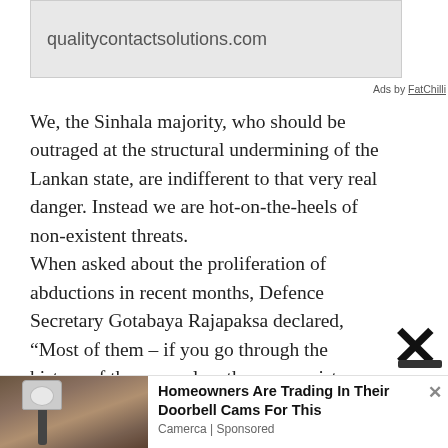[Figure (screenshot): Ad box showing URL: qualitycontactsolutions.com on grey background]
Ads by FatChilli
We, the Sinhala majority, who should be outraged at the structural undermining of the Lankan state, are indifferent to that very real danger. Instead we are hot-on-the-heels of non-existent threats.
When asked about the proliferation of abductions in recent months, Defence Secretary Gotabaya Rajapaksa declared, “Most of them – if you go through the history of these people…they are rapists, murderers
[Figure (screenshot): Sponsored ad: Homeowners Are Trading In Their Doorbell Cams For This, by Camerca | Sponsored, with photo of outdoor light/camera on wall]